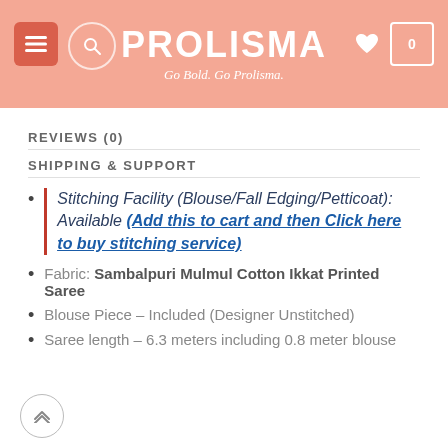PROLISMA
Go Bold. Go Prolisma.
REVIEWS (0)
SHIPPING & SUPPORT
Stitching Facility (Blouse/Fall Edging/Petticoat): Available (Add this to cart and then Click here to buy stitching service)
Fabric: Sambalpuri Mulmul Cotton Ikkat Printed Saree
Blouse Piece – Included (Designer Unstitched)
Saree length – 6.3 meters including 0.8 meter blouse